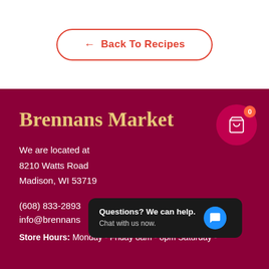← Back To Recipes
Brennans Market
We are located at
8210 Watts Road
Madison, WI 53719
(608) 833-2893
info@brennans
Store Hours: Monday - Friday 8am - 8pm Saturday -
Questions? We can help. Chat with us now.